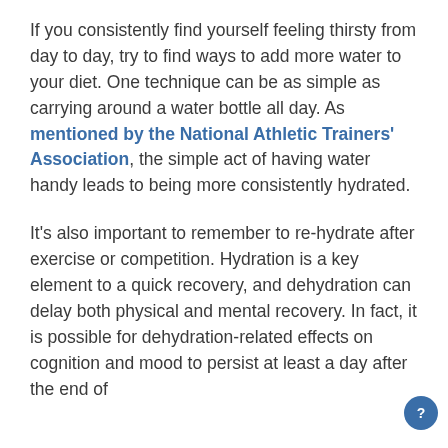If you consistently find yourself feeling thirsty from day to day, try to find ways to add more water to your diet. One technique can be as simple as carrying around a water bottle all day. As mentioned by the National Athletic Trainers' Association, the simple act of having water handy leads to being more consistently hydrated.
It's also important to remember to re-hydrate after exercise or competition. Hydration is a key element to a quick recovery, and dehydration can delay both physical and mental recovery. In fact, it is possible for dehydration-related effects on cognition and mood to persist at least a day after the end of